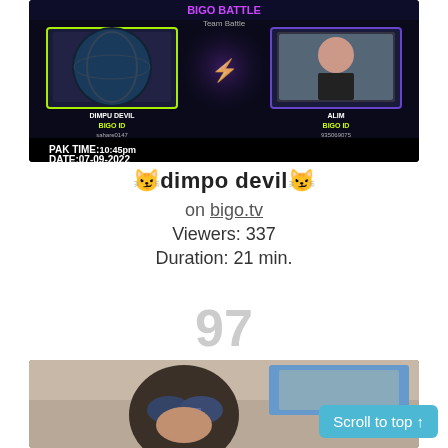[Figure (screenshot): Bigo TV team battle screenshot showing two users: DIMPU DEVIL (BIGO ID: sahare0147) and ALIM (BIGO ID: 935069075), PAK TIME: 10:45pm, DATE: 07-09-2022]
😼dimpo devil😼
on bigo.tv
Viewers: 337
Duration: 21 min.
97
[Figure (photo): Person wearing sunglasses sitting in a car, viewed from the back seat]
Scroll to top ↑